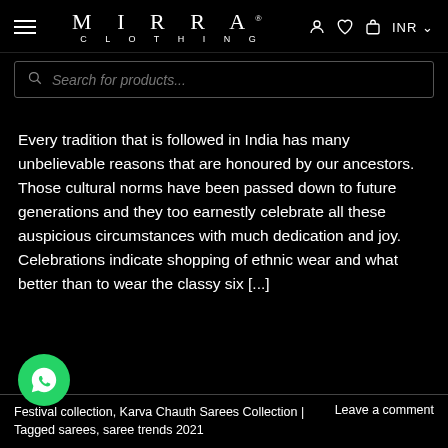MIRRA CLOTHING — navigation bar with hamburger menu, logo, user icon, wishlist icon, bag icon, INR currency selector
Search for products...
Every tradition that is followed in India has many unbelievable reasons that are honoured by our ancestors. Those cultural norms have been passed down to future generations and they too earnestly celebrate all these auspicious circumstances with much dedication and joy. Celebrations indicate shopping of ethnic wear and what better than to wear the classy six [...]
Festival collection, Karva Chauth Sarees Collection | Tagged sarees, saree trends 2021 | Leave a comment